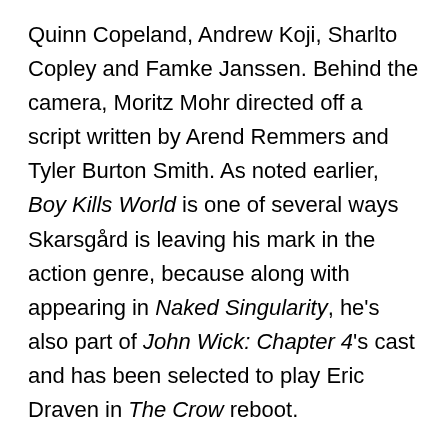Quinn Copeland, Andrew Koji, Sharlto Copley and Famke Janssen. Behind the camera, Moritz Mohr directed off a script written by Arend Remmers and Tyler Burton Smith. As noted earlier, Boy Kills World is one of several ways Skarsgård is leaving his mark in the action genre, because along with appearing in Naked Singularity, he's also part of John Wick: Chapter 4's cast and has been selected to play Eric Draven in The Crow reboot.
Whether Boy Kills World is squeezed in for release this year or saved for 2023, CinemaBlend will pass along more major updates about it when they come in. If you're looking for a recent Bill Skarsgård project to watch, he played Kro in